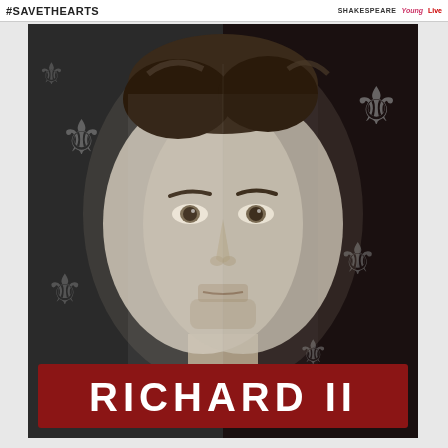#SAVETHEARTS   SHAKESPEARE   Live
[Figure (photo): Black and white promotional poster for Richard II Shakespeare production. A young man's face is shown close-up against a dark background decorated with fleur-de-lis heraldic symbols. The face is split down the middle with slightly different lighting on each half, suggesting duality. The man has dark hair, light eyes, and subtle facial stubble. Below his portrait is a large dark red/crimson banner with bold white text reading RICHARD II.]
RICHARD II